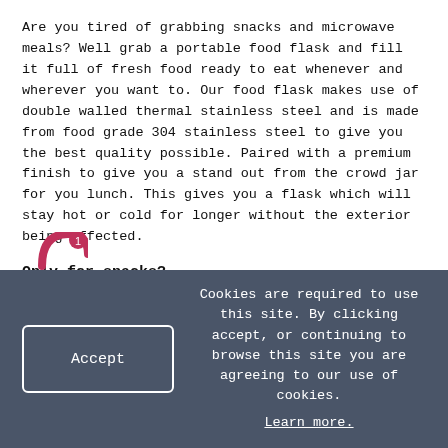Are you tired of grabbing snacks and microwave meals? Well grab a portable food flask and fill it full of fresh food ready to eat whenever and wherever you want to. Our food flask makes use of double walled thermal stainless steel and is made from food grade 304 stainless steel to give you the best quality possible. Paired with a premium finish to give you a stand out from the crowd jar for you lunch. This gives you a flask which will stay hot or cold for longer without the exterior being affected.
Only for snacks?
No not at all, we've made sure that our food flasks have a capacity large enough so that you can fit a substantial amount of food into any size pot. you'll have plenty of space to get a full sized portion giving
Cookies are required to use this site. By clicking accept, or continuing to browse this site you are agreeing to our use of cookies. Learn more.